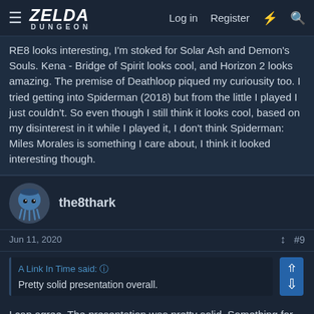ZELDA DUNGEON | Log in | Register
RE8 looks interesting, I'm stoked for Solar Ash and Demon's Souls. Kena - Bridge of Spirit looks cool, and Horizon 2 looks amazing. The premise of Deathloop piqued my curiousity too. I tried getting into Spiderman (2018) but from the little I played I just couldn't. So even though I still think it looks cool, based on my disinterest in it while I played it, I don't think Spiderman: Miles Morales is something I care about, I think it looked interesting though.
the8thark
Jun 11, 2020
#9
A Link In Time said:
Pretty solid presentation overall.
I can agree. The presentation was pretty solid. Something for